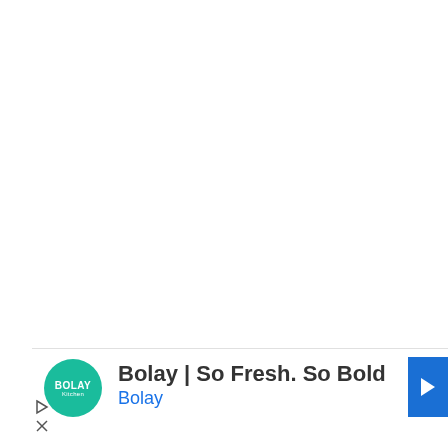[Figure (logo): Advertisement bar at the bottom of the page featuring Bolay Kitchen logo (green circle with BOLAY text), ad headline 'Bolay | So Fresh. So Bold', subtitle 'Bolay' in blue, and a blue arrow navigation button on the right. Small play and close icons on the left side.]